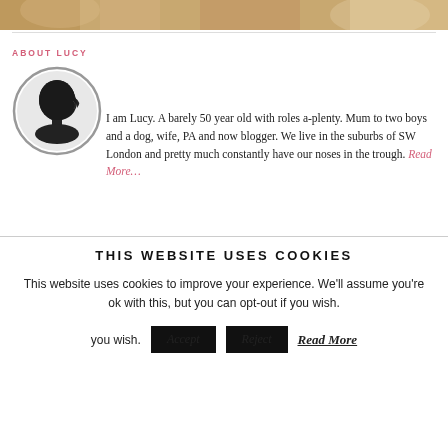[Figure (photo): Partial top image of a scene with warm wooden tones, cropped at the top of the page]
ABOUT LUCY
[Figure (illustration): Circular avatar with silhouette profile of a person's head in black on white background with grey border]
I am Lucy. A barely 50 year old with roles a-plenty. Mum to two boys and a dog, wife, PA and now blogger. We live in the suburbs of SW London and pretty much constantly have our noses in the trough. Read More…
THIS WEBSITE USES COOKIES
This website uses cookies to improve your experience. We'll assume you're ok with this, but you can opt-out if you wish.
Accept  Reject  Read More